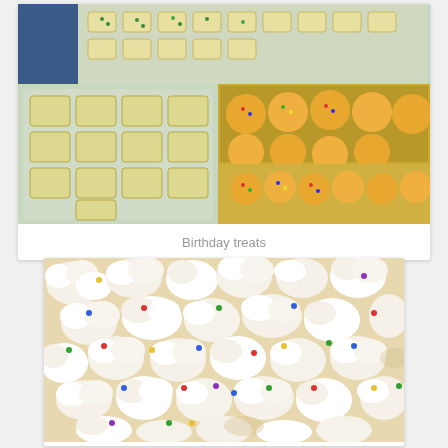[Figure (photo): Baking trays with square crackers/cookies decorated with green sprinkles on top, and trays of yellow/orange cupcakes with colorful sprinkles arranged on baking sheets.]
Birthday treats
[Figure (photo): Close-up of white popcorn coated with white chocolate or candy coating, covered in colorful rainbow sprinkles (red, blue, green, yellow).]